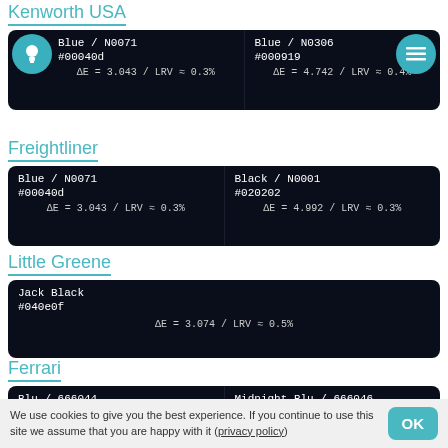Kenworth USA
| Color | Color |
| --- | --- |
| Blue / N0071
#00040d
ΔE = 3.043 / LRV ≈ 0.3% | Blue / N0306
#000919
ΔE = 4.742 / LRV ≈ 0.4% |
Freightliner
| Color | Color |
| --- | --- |
| Blue / N0071
#00040d
ΔE = 3.043 / LRV ≈ 0.3% | Black / N0001
#020202
ΔE = 4.992 / LRV ≈ 0.3% |
Little Greene
| Color |
| --- |
| Jack Black
#040e0f
ΔE = 3.074 / LRV ≈ 0.5% |
Ferrari
| Color | Color |
| --- | --- |
| Blu / 666044
#02050c | Midnight Blu / 666046
#010204 |
We use cookies to give you the best experience. If you continue to use this site we assume that you are happy with it (privacy policy)